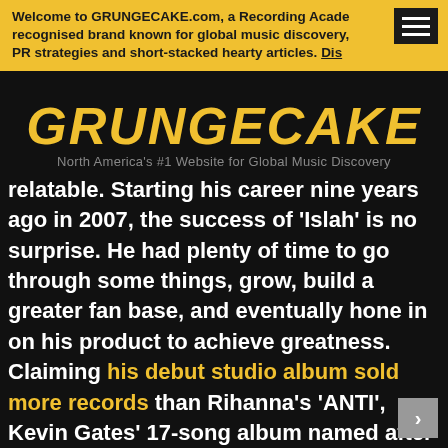Welcome to GRUNGECAKE.com, a Recording Acade recognised brand known for global music discovery, PR strategies and short-stacked hearty articles. Dis
GRUNGECAKE
North America's #1 Website for Global Music Discovery
relatable. Starting his career nine years ago in 2007, the success of 'Islah' is no surprise. He had plenty of time to go through some things, grow, build a greater fan base, and eventually hone in on his product to achieve greatness. Claiming his debut studio album sold more records than Rihanna's 'ANTI', Kevin Gates' 17-song album named after his daughter is a collection of songs about his relationships with women, dealing with success, betrayal, and remnants of the grand hustle.